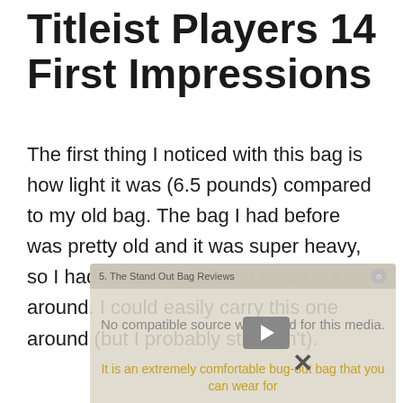Titleist Players 14 First Impressions
The first thing I noticed with this bag is how light it was (6.5 pounds) compared to my old bag. The bag I had before was pretty old and it was super heavy, so I had to use a pushcart to carry it around. I could easily carry this one around (but I probably still won't).
[Figure (screenshot): Video overlay popup showing 'No compatible source was found for this media.' error message, with a header reading partial text about bag reviews, a close button, and highlighted yellow text starting 'It is an extremely comfortable bug-out bag that you can wear for' with an X dismiss button.]